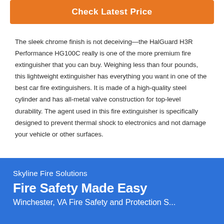[Figure (other): Orange button with white bold text reading 'Check Latest Price']
The sleek chrome finish is not deceiving—the HalGuard H3R Performance HG100C really is one of the more premium fire extinguisher that you can buy. Weighing less than four pounds, this lightweight extinguisher has everything you want in one of the best car fire extinguishers. It is made of a high-quality steel cylinder and has all-metal valve construction for top-level durability. The agent used in this fire extinguisher is specifically designed to prevent thermal shock to electronics and not damage your vehicle or other surfaces.
Skyline Fire Solutions
Fire Safety Made Easy
Winchester, VA Fire Safety and Protection S...